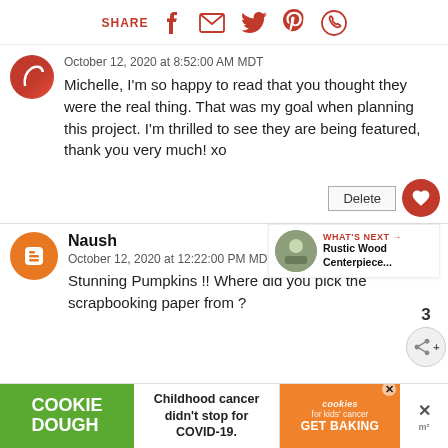SHARE [facebook] [email] [twitter] [pinterest] [whatsapp]
October 12, 2020 at 8:52:00 AM MDT
Michelle, I'm so happy to read that you thought they were the real thing. That was my goal when planning this project. I'm thrilled to see they are being featured, thank you very much! xo
Naush
October 12, 2020 at 12:22:00 PM MDT
Stunning Pumpkins !! Where did you pick the scrapbooking paper from ?
WHAT'S NEXT → Rustic Wood Centerpiece...
COOKIE DOUGH  Childhood cancer didn't stop for COVID-19.  cookies for kids' cancer GET BAKING  ×